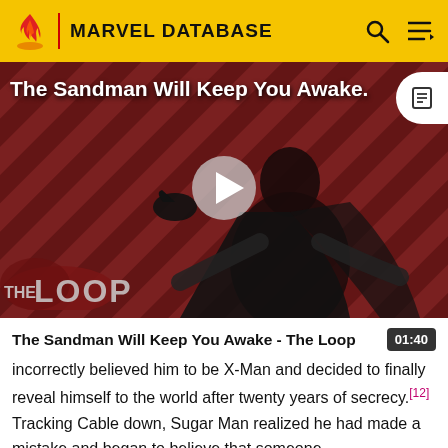MARVEL DATABASE
[Figure (screenshot): Video thumbnail for 'The Sandman Will Keep You Awake - The Loop' showing a dark figure in a black cape against a red striped background with THE LOOP branding and a play button overlay]
The Sandman Will Keep You Awake - The Loop
incorrectly believed him to be X-Man and decided to finally reveal himself to the world after twenty years of secrecy.[12] Tracking Cable down, Sugar Man realized he had made a mistake and began to believe that someone